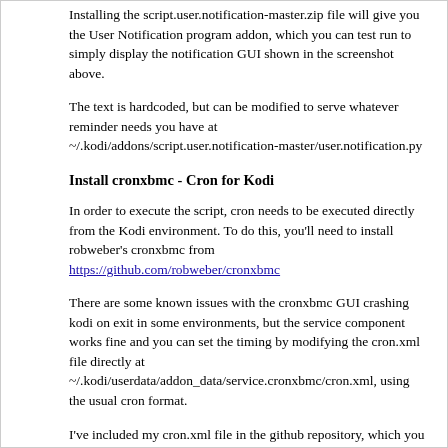Installing the script.user.notification-master.zip file will give you the User Notification program addon, which you can test run to simply display the notification GUI shown in the screenshot above.
The text is hardcoded, but can be modified to serve whatever reminder needs you have at ~/.kodi/addons/script.user.notification-master/user.notification.py
Install cronxbmc - Cron for Kodi
In order to execute the script, cron needs to be executed directly from the Kodi environment. To do this, you'll need to install robweber's cronxbmc from https://github.com/robweber/cronxbmc
There are some known issues with the cronxbmc GUI crashing kodi on exit in some environments, but the service component works fine and you can set the timing by modifying the cron.xml file directly at ~/.kodi/userdata/addon_data/service.cronxbmc/cron.xml, using the usual cron format.
I've included my cron.xml file in the github repository, which you can place directly at the path specified above and which will execute the user.notification script at 7:30am and 7:30pm every day.